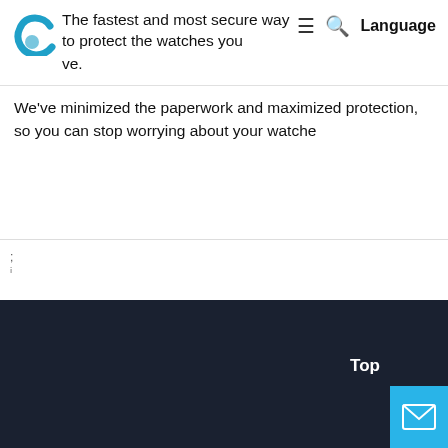The fastest and most secure way to protect the watches you love.
We've minimized the paperwork and maximized protection, so you can stop worrying about your watche
;
[Figure (screenshot): Dark navy/dark blue background section filling the lower half of the page, with a 'Top' label and a cyan/blue mail button in the bottom right corner.]